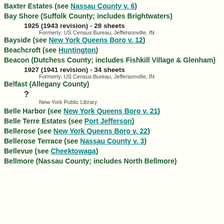Baxter Estates (see Nassau County v. 6)
Bay Shore (Suffolk County; includes Brightwaters)
1925 (1943 revision) - 28 sheets
Formerly: US Census Bureau, Jeffersonville, IN
Bayside (see New York Queens Boro v. 12)
Beachcroft (see Huntington)
Beacon (Dutchess County; includes Fishkill Village & Glenham)
1927 (1941 revision) - 34 sheets
Formerly: US Census Bureau, Jeffersonville, IN
Belfast (Allegany County)
?
New York Public Library
Belle Harbor (see New York Queens Boro v. 21)
Belle Terre Estates (see Port Jefferson)
Bellerose (see New York Queens Boro v. 22)
Bellerose Terrace (see Nassau County v. 3)
Bellevue (see Cheektowaga)
Bellmore (Nassau County; includes North Bellmore)